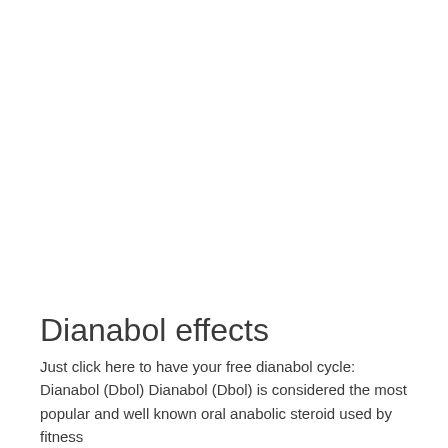Dianabol effects
Just click here to have your free dianabol cycle: Dianabol (Dbol) Dianabol (Dbol) is considered the most popular and well known oral anabolic steroid used by fitness